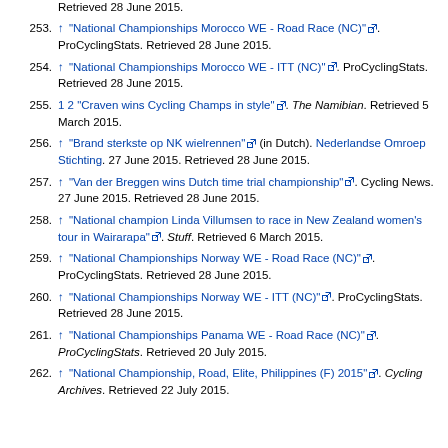252. ↑ "National Championships Mexico WE - ITT (NC)". ProCyclingStats. Retrieved 28 June 2015.
253. ↑ "National Championships Morocco WE - Road Race (NC)". ProCyclingStats. Retrieved 28 June 2015.
254. ↑ "National Championships Morocco WE - ITT (NC)". ProCyclingStats. Retrieved 28 June 2015.
255. 1 2 "Craven wins Cycling Champs in style". The Namibian. Retrieved 5 March 2015.
256. ↑ "Brand sterkste op NK wielrennen" (in Dutch). Nederlandse Omroep Stichting. 27 June 2015. Retrieved 28 June 2015.
257. ↑ "Van der Breggen wins Dutch time trial championship". Cycling News. 27 June 2015. Retrieved 28 June 2015.
258. ↑ "National champion Linda Villumsen to race in New Zealand women's tour in Wairarapa". Stuff. Retrieved 6 March 2015.
259. ↑ "National Championships Norway WE - Road Race (NC)". ProCyclingStats. Retrieved 28 June 2015.
260. ↑ "National Championships Norway WE - ITT (NC)". ProCyclingStats. Retrieved 28 June 2015.
261. ↑ "National Championships Panama WE - Road Race (NC)". ProCyclingStats. Retrieved 20 July 2015.
262. ↑ "National Championship, Road, Elite, Philippines (F) 2015". Cycling Archives. Retrieved 22 July 2015.